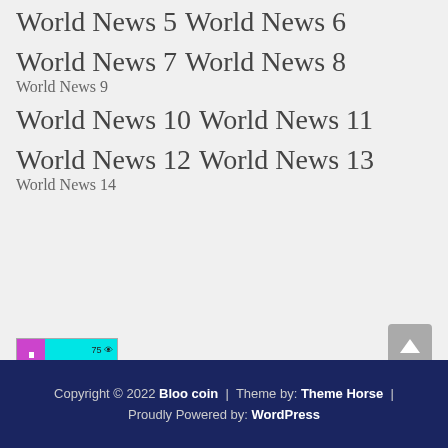World News 5   World News 6
World News 7   World News 8   World News 9
World News 10   World News 11
World News 12   World News 13   World News 14
[Figure (other): Stats widget showing bar chart icon on purple background with cyan panel showing 75 views, 75 comments, 75 users]
Copyright © 2022 Bloo coin | Theme by: Theme Horse | Proudly Powered by: WordPress